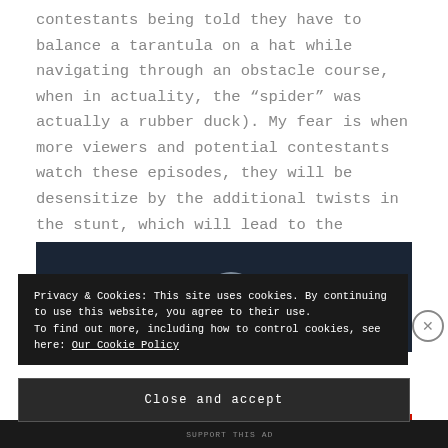contestants being told they have to balance a tarantula on a hat while navigating through an obstacle course, when in actuality, the “spider” was actually a rubber duck). My fear is when more viewers and potential contestants watch these episodes, they will be desensitize by the additional twists in the stunt, which will lead to the contestants not taking the game seriously as if it were a challenge.
[Figure (photo): Dark background image partially visible, showing a faint silhouette or shape against a dark blue scene.]
Privacy & Cookies: This site uses cookies. By continuing to use this website, you agree to their use.
To find out more, including how to control cookies, see here: Our Cookie Policy
Close and accept